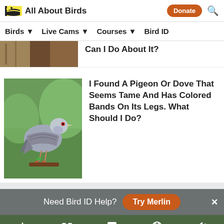All About Birds | Donate (button) | Search
Birds | Live Cams | Courses | Bird ID
Can I Do About It?
I Found A Pigeon Or Dove That Seems Tame And Has Colored Bands On Its Legs. What Should I Do?
Need Bird ID Help? Try Merlin
Overview | ID info | Life History | Maps | Sounds